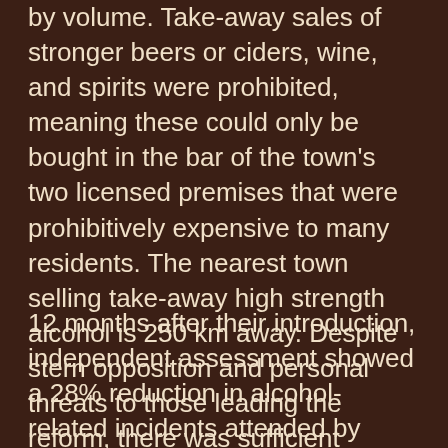by volume. Take-away sales of stronger beers or ciders, wine, and spirits were prohibited, meaning these could only be bought in the bar of the town's two licensed premises that were prohibitively expensive to many residents. The nearest town selling take-away high strength alcohol is 250 km away. Despite stern opposition and personal threats to those leading the reform, there was sufficient community support to implement a trial of the restrictions.
12 months after their introduction, independent assessment showed a 28% reduction in alcohol-related incidents attended by police, a 42% reduction in alcohol-related hospital presentations, and a 14% increase in school